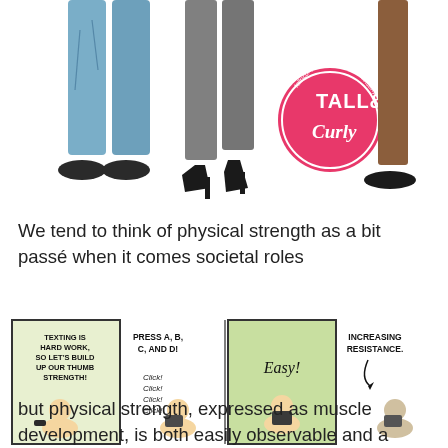[Figure (illustration): Illustration showing legs/feet of three figures: left pair in blue wide-leg jeans with dark sneakers, center figure in gray trousers with tall black platform heels, right figure in brown trousers with black flat shoes. A pink circular logo reading 'TALL & Curly' with 'tallncurly.com' around the edge is visible in the upper right area.]
We tend to think of physical strength as a bit passé when it comes societal roles
[Figure (illustration): A four-panel comic strip showing a cartoon baby/toddler using gaming devices. Panel 1: text 'TEXTING IS HARD WORK, SO LET'S BUILD UP OUR THUMB STRENGTH!' with baby clicking on a phone. Panel 2: 'PRESS A, B, C, AND D!' with 'Click! Click! Click! Click!' and baby pressing buttons. Panel 3: baby says 'Easy!' holding a tablet. Panel 4: 'INCREASING RESISTANCE.' with baby struggling with a device.]
but physical strength, expressed as muscle development, is both easily observable and a more